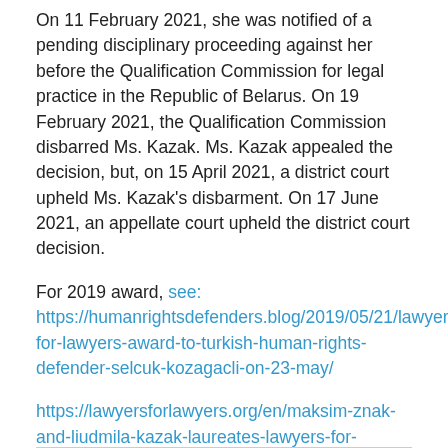On 11 February 2021, she was notified of a pending disciplinary proceeding against her before the Qualification Commission for legal practice in the Republic of Belarus. On 19 February 2021, the Qualification Commission disbarred Ms. Kazak. Ms. Kazak appealed the decision, but, on 15 April 2021, a district court upheld Ms. Kazak's disbarment. On 17 June 2021, an appellate court upheld the district court decision.
For 2019 award, see: https://humanrightsdefenders.blog/2019/05/21/lawyers-for-lawyers-award-to-turkish-human-rights-defender-selcuk-kozagacli-on-23-may/
https://lawyersforlawyers.org/en/maksim-znak-and-liudmila-kazak-laureates-lawyers-for-lawyers-award-2021/